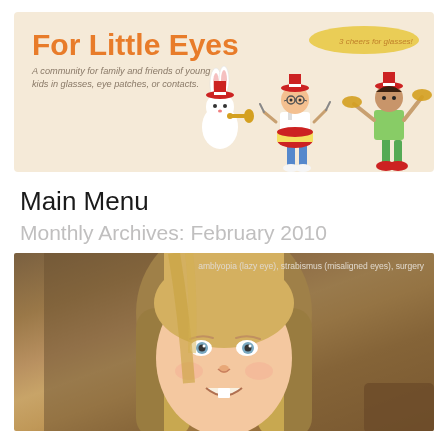[Figure (logo): For Little Eyes website banner with orange logo text, italic subtitle 'A community for family and friends of young kids in glasses, eye patches, or contacts', and illustrated children in marching band hats with a rabbit]
Main Menu
Monthly Archives: February 2010
[Figure (photo): Close-up photo of a young blonde girl smiling, with tags: amblyopia (lazy eye), strabismus (misaligned eyes), surgery]